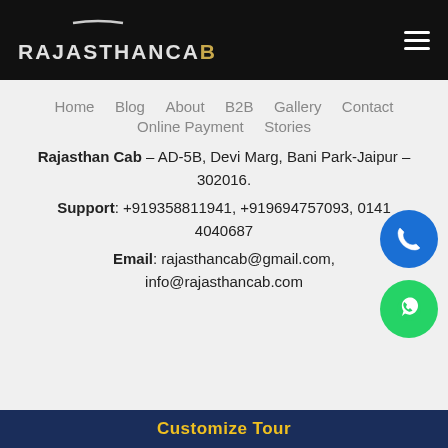RAJASTHANCAB
Home  Blog  About  B2B  Gallery  Contact  Online Payment  Stories
Rajasthan Cab – AD-5B, Devi Marg, Bani Park-Jaipur – 302016.
Support: +919358811941, +919694757093, 0141 4040687
Email: rajasthancab@gmail.com, info@rajasthancab.com
Customize Tour